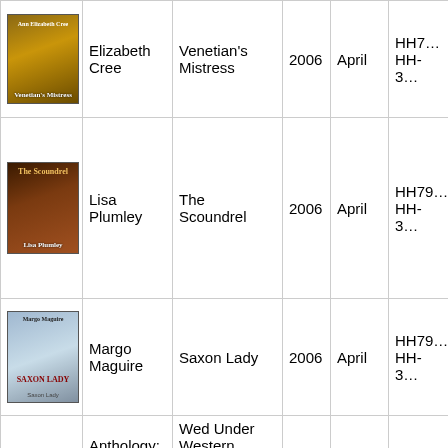| Cover | Author | Title | Year | Month | Code |
| --- | --- | --- | --- | --- | --- |
| [book cover] | Elizabeth Cree | Venetian's Mistress | 2006 | April | HH7… HH-3… |
| [book cover] | Lisa Plumley | The Scoundrel | 2006 | April | HH79… HH-3… |
| [book cover] | Margo Maguire | Saxon Lady | 2006 | April | HH79… HH-3… |
|  | Anthology: Carolyn | Wed Under Western Skies: Abandoned |  |  |  |